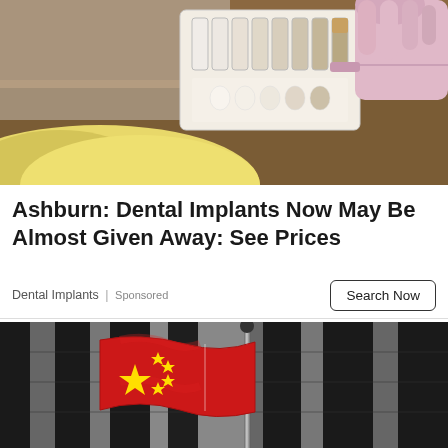[Figure (photo): Close-up photo of a dental shade guide being held by a gloved hand, with blonde hair visible in background on a wooden surface]
Ashburn: Dental Implants Now May Be Almost Given Away: See Prices
Dental Implants | Sponsored
Search Now
[Figure (photo): Photo of a Chinese flag (red with yellow stars) on a flagpole in front of a dark stone building with tall vertical columns, in black and white surroundings]